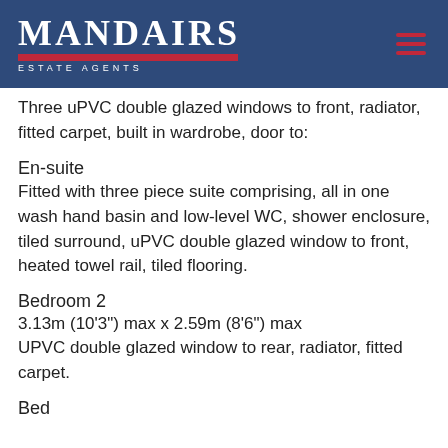Mandairs Estate Agents
Three uPVC double glazed windows to front, radiator, fitted carpet, built in wardrobe, door to:
En-suite
Fitted with three piece suite comprising, all in one wash hand basin and low-level WC, shower enclosure, tiled surround, uPVC double glazed window to front, heated towel rail, tiled flooring.
Bedroom 2
3.13m (10'3") max x 2.59m (8'6") max
UPVC double glazed window to rear, radiator, fitted carpet.
Bed